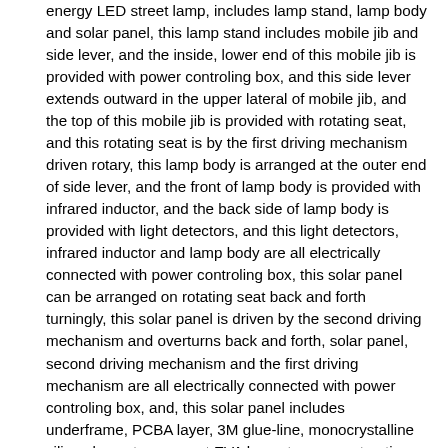energy LED street lamp, includes lamp stand, lamp body and solar panel, this lamp stand includes mobile jib and side lever, and the inside, lower end of this mobile jib is provided with power controling box, and this side lever extends outward in the upper lateral of mobile jib, and the top of this mobile jib is provided with rotating seat, and this rotating seat is by the first driving mechanism driven rotary, this lamp body is arranged at the outer end of side lever, and the front of lamp body is provided with infrared inductor, and the back side of lamp body is provided with light detectors, and this light detectors, infrared inductor and lamp body are all electrically connected with power controling box, this solar panel can be arranged on rotating seat back and forth turningly, this solar panel is driven by the second driving mechanism and overturns back and forth, solar panel, second driving mechanism and the first driving mechanism are all electrically connected with power controling box, and, this solar panel includes underframe, PCBA layer, 3M glue-line, monocrystalline silicon layer, transparent EVA layer, transparent anti-corrosion layer, transparent weathering layer and transparent frosted PET protective layer, this PCBA layer, 3M glue-line, monocrystalline silicon layer, transparent EVA